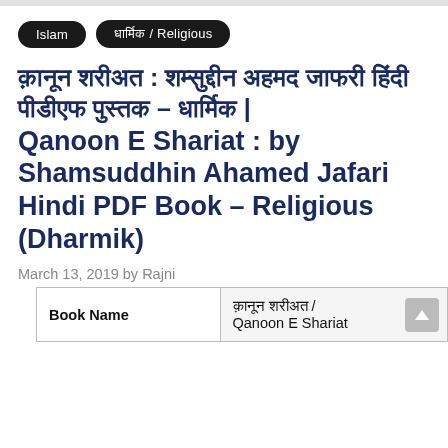Islam
धार्मिक / Religious
क़ानून शरीअत : शम्सुद्दीन अहमद जाफरी हिंदी पीडीएफ पुस्तक – धार्मिक | Qanoon E Shariat : by Shamsuddhin Ahamed Jafari Hindi PDF Book – Religious (Dharmik)
March 13, 2019 by Rajni
| Book Name |  |
| --- | --- |
| Book Name | क़ानून शरीअत / Qanoon E Shariat |